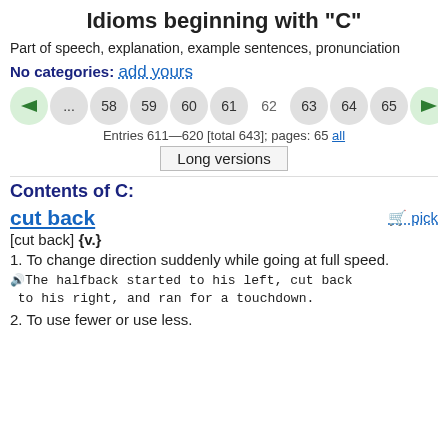Idioms beginning with "C"
Part of speech, explanation, example sentences, pronunciation
No categories: add yours
[Figure (other): Pagination row with left arrow, ..., 58, 59, 60, 61, 62, 63, 64, 65, right arrow]
Entries 611—620 [total 643]; pages: 65 all
Long versions
Contents of C:
cut back   🛒 pick
[cut back] {v.}
1. To change direction suddenly while going at full speed.
🔊The halfback started to his left, cut back to his right, and ran for a touchdown.
2. To use fewer or use less.